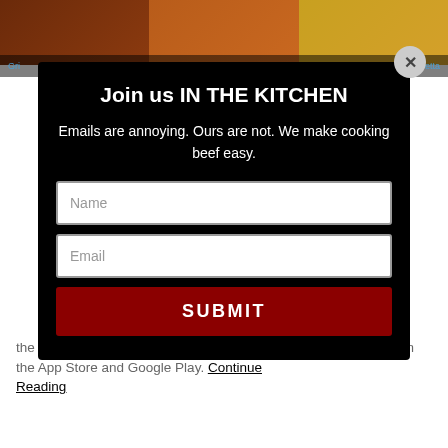[Figure (screenshot): Background food images strip at top of page showing three food photos side by side]
Join us IN THE KITCHEN
Emails are annoying. Ours are not. We make cooking beef easy.
[Figure (other): Form fields: Name input, Email input, and SUBMIT button inside a dark modal popup with close button]
the Roast Perfect app! It's free, it's fabulous, and it's available from the App Store and Google Play.
Continue Reading